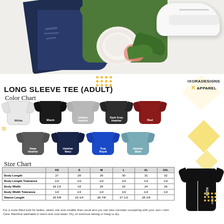[Figure (photo): Flat lay photo showing distressed dark blue jeans, olive/army green long sleeve shirt, white sneakers, white peony flower, pink flowers, and green leaves arranged on a white background]
LONG SLEEVE TEE (ADULT)
Color Chart
[Figure (illustration): Color chart showing 9 long sleeve t-shirt swatches in colors: White, Black, Athletic Heather, Dark Grey Heather, Red, Deep Heather, Heather Navy, True Royal, Heather Slate]
Size Chart
|  | XS | S | M | L | XL | 2XL |
| --- | --- | --- | --- | --- | --- | --- |
| Body Length | 27 | 28 | 29 | 30 | 31 | 32 |
| Body Length Tolerance | 1/2 | 1/2 | 1/2 | 1/2 | 1/2 | 1/2 |
| Body Width | 16 1/2 | 18 | 20 | 22 | 24 | 26 |
| Body Width Tolerance | 1/2 | 1/2 | 1/2 | 1/2 | 1/2 | 1/2 |
| Sleeve Length | 25 5/8 | 26 1/4 | 26 7/8 | 27 1/2 | 28 1/8 |  |
For a more fitted look for ladies, select one size smaller than usual and you can also consider comparing with your own t shirt Care: Machine washable in warm and cold water. Dry on low/mod setting or hang to dry.
[Figure (photo): Black long sleeve t-shirt with vertical text/graphic shown on right side]
IXORADESIGNS X APPAREL